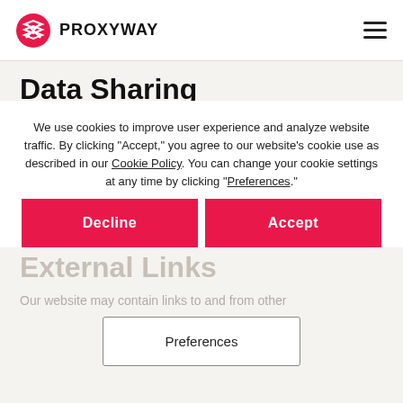PROXYWAY
Data Sharing
We may share some of the data with our third-party service providers, such as our email service provider. This might mean that your data may be transferred to other countries than the one you reside in. Rest assured that we monitor our providers to ensure they conduct business in accordance with the data protection standards.
We use cookies to improve user experience and analyze website traffic. By clicking "Accept," you agree to our website's cookie use as described in our Cookie Policy. You can change your cookie settings at any time by clicking "Preferences."
External Links
Our website may contain links to and from other